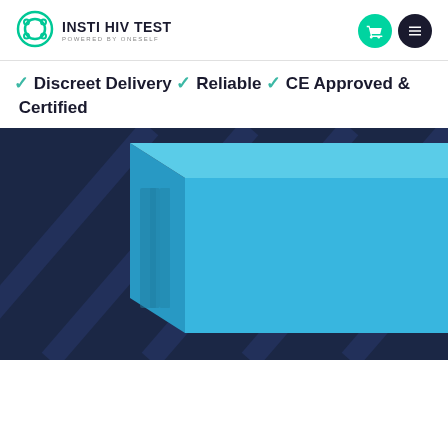INSTI HIV TEST POWERED BY ONESELF
✓ Discreet Delivery ✓ Reliable ✓ CE Approved & Certified
[Figure (photo): Blue INSTI HIV Test box packaging showing Negativ and Positiv result indicators, displayed against a dark navy blue background with diagonal stripe pattern.]